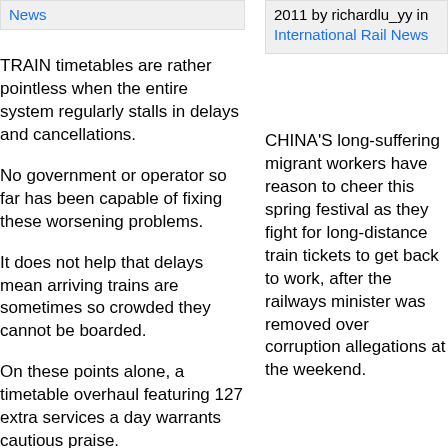News
2011 by richardlu_yy in International Rail News
TRAIN timetables are rather pointless when the entire system regularly stalls in delays and cancellations.
No government or operator so far has been capable of fixing these worsening problems.
It does not help that delays mean arriving trains are sometimes so crowded they cannot be boarded.
On these points alone, a timetable overhaul featuring 127 extra services a day warrants cautious praise.
CHINA'S long-suffering migrant workers have reason to cheer this spring festival as they fight for long-distance train tickets to get back to work, after the railways minister was removed over corruption allegations at the weekend.